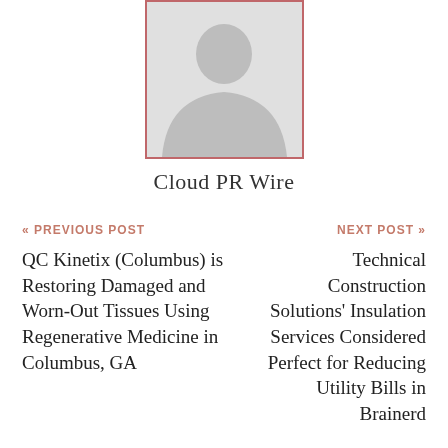[Figure (illustration): Generic avatar/person placeholder image with a gray silhouette of a person, inside a box with a salmon/rose-colored border]
Cloud PR Wire
« PREVIOUS POST
NEXT POST »
QC Kinetix (Columbus) is Restoring Damaged and Worn-Out Tissues Using Regenerative Medicine in Columbus, GA
Technical Construction Solutions' Insulation Services Considered Perfect for Reducing Utility Bills in Brainerd